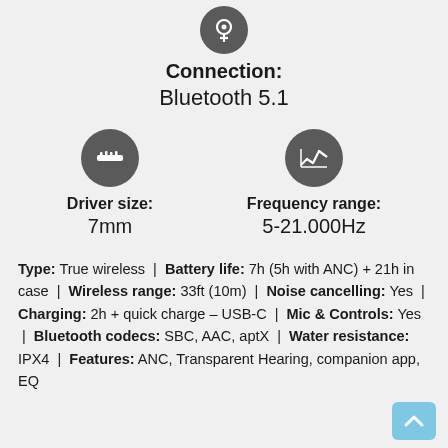[Figure (illustration): Dark circular icon with a wireless/Bluetooth-like symbol at the top center]
Connection:
Bluetooth 5.1
[Figure (illustration): Dark circular icon with a ruler/driver size symbol]
[Figure (illustration): Dark circular icon with a frequency/waveform chart symbol]
Driver size:
7mm
Frequency range:
5-21.000Hz
Type: True wireless | Battery life: 7h (5h with ANC) + 21h in case | Wireless range: 33ft (10m) | Noise cancelling: Yes | Charging: 2h + quick charge – USB-C | Mic & Controls: Yes | Bluetooth codecs: SBC, AAC, aptX | Water resistance: IPX4 | Features: ANC, Transparent Hearing, companion app, EQ